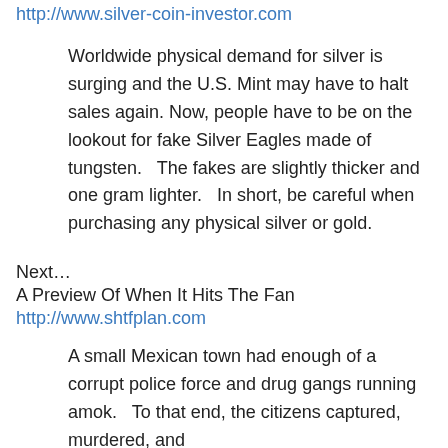http://www.silver-coin-investor.com
Worldwide physical demand for silver is surging and the U.S. Mint may have to halt sales again. Now, people have to be on the lookout for fake Silver Eagles made of tungsten.   The fakes are slightly thicker and one gram lighter.   In short, be careful when purchasing any physical silver or gold.
Next…
A Preview Of When It Hits The Fan
http://www.shtfplan.com
A small Mexican town had enough of a corrupt police force and drug gangs running amok.   To that end, the citizens captured, murdered, and